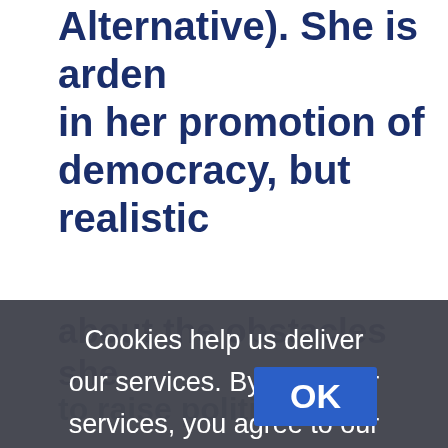Alternative). She is ardent in her promotion of democracy, but realistic about the obstacles she
Cookies help us deliver our services. By using our services, you agree to our use of cookies. Learn more
[Figure (screenshot): OK button - blue rectangular button with white bold text 'OK']